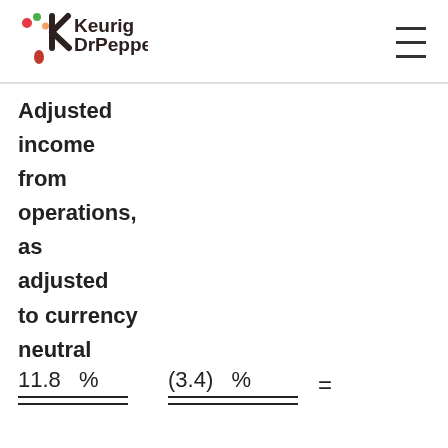Keurig Dr Pepper
Adjusted income from operations, as adjusted to currency neutral
11.8 %
(3.4) %
Adjusted diluted earnings per share
Impact of foreign currency